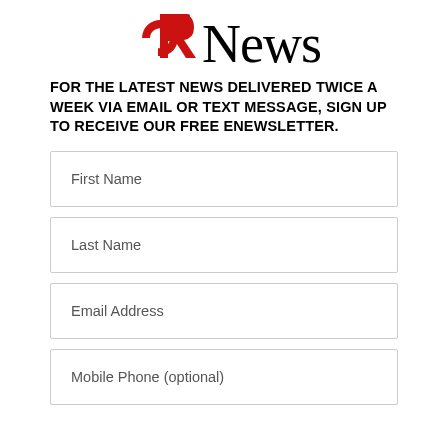[Figure (logo): CR News logo with red CR emblem and black News text]
FOR THE LATEST NEWS DELIVERED TWICE A WEEK VIA EMAIL OR TEXT MESSAGE, SIGN UP TO RECEIVE OUR FREE ENEWSLETTER.
[Figure (other): First Name input field]
[Figure (other): Last Name input field]
[Figure (other): Email Address input field]
[Figure (other): Mobile Phone (optional) input field]